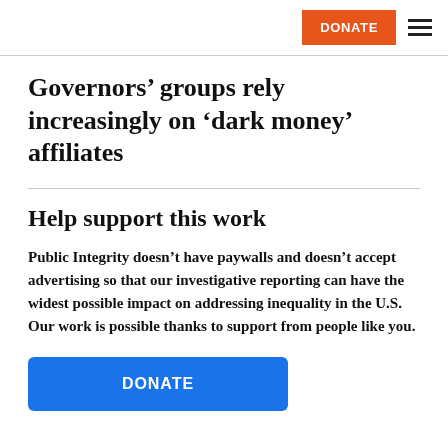DONATE ☰
Governors' groups rely increasingly on 'dark money' affiliates
Help support this work
Public Integrity doesn't have paywalls and doesn't accept advertising so that our investigative reporting can have the widest possible impact on addressing inequality in the U.S. Our work is possible thanks to support from people like you.
[Figure (other): Blue DONATE button]